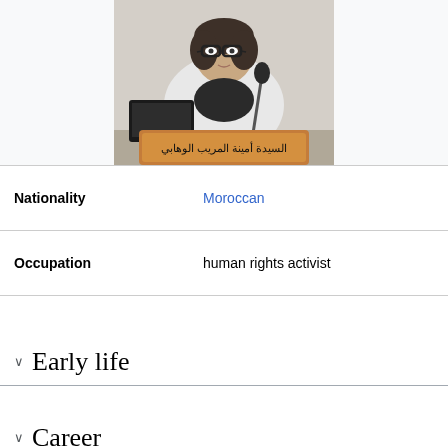[Figure (photo): Photo of a woman wearing glasses and a white jacket, sitting at a table with a microphone and a nameplate in Arabic script reading السيدة أمينة المريب الوهابي]
| Nationality | Moroccan |
| Occupation | human rights activist |
Early life
Career
Publications